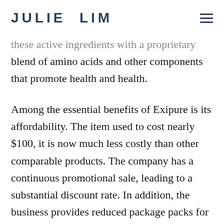JULIE LIM
these active ingredients with a proprietary blend of amino acids and other components that promote health and health.
Among the essential benefits of Exipure is its affordability. The item used to cost nearly $100, it is now much less costly than other comparable products. The company has a continuous promotional sale, leading to a substantial discount rate. In addition, the business provides reduced package packs for several bottles, lowering the price even further. Unlike other items on the